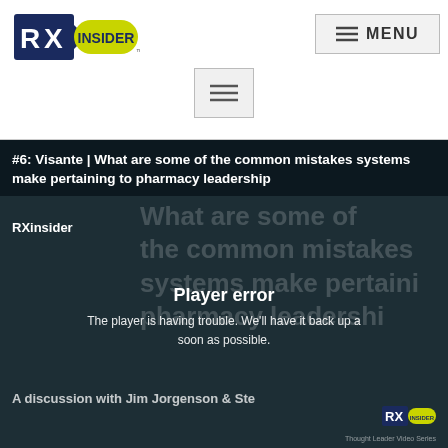[Figure (logo): RXInsider logo — bold RX letters with arrow icon and yellow pill-shaped INSIDER badge]
[Figure (screenshot): Menu button with hamburger icon (three horizontal lines) and MENU text in a bordered button]
[Figure (screenshot): Standalone hamburger menu button (three lines) in a bordered box, centered on page]
#6: Visante | What are some of the common mistakes systems make pertaining to pharmacy leadership
RXinsider
What are some of the common mistakes systems make pertaining to pharmacy leadershi
Player error
The player is having trouble. We'll have it back up as soon as possible.
A discussion with Jim Jorgenson & Ste